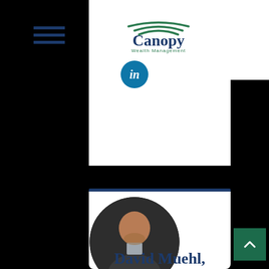[Figure (logo): Canopy Wealth Management logo with green swoosh arcs above navy text]
[Figure (illustration): LinkedIn icon - blue circle with white 'in' text]
[Figure (photo): Circular headshot of David Muehl, a bald man with a beard wearing a dark blazer, smiling]
David Muehl,